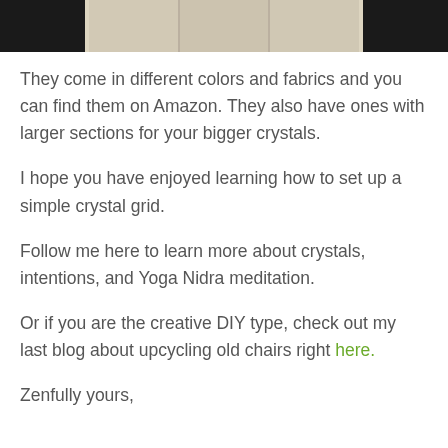[Figure (photo): Top portion of a photo showing a wooden organizer tray with crystals or stones, partially cut off at the top of the page. Dark background visible to the sides.]
They come in different colors and fabrics and you can find them on Amazon. They also have ones with larger sections for your bigger crystals.
I hope you have enjoyed learning how to set up a simple crystal grid.
Follow me here to learn more about crystals, intentions, and Yoga Nidra meditation.
Or if you are the creative DIY type, check out my last blog about upcycling old chairs right here.
Zenfully yours,